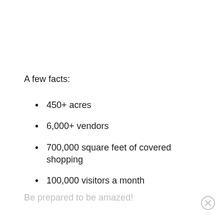A few facts:
450+ acres
6,000+ vendors
700,000 square feet of covered shopping
100,000 visitors a month
Be prepared to be amazed!